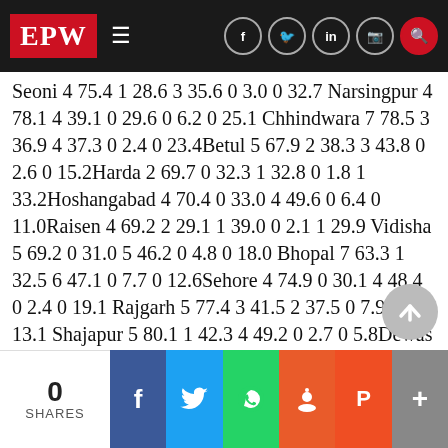EPW
Seoni 4 75.4 1 28.6 3 35.6 0 3.0 0 32.7 Narsingpur 4 78.1 4 39.1 0 29.6 0 6.2 0 25.1 Chhindwara 7 78.5 3 36.9 4 37.3 0 2.4 0 23.4Betul 5 67.9 2 38.3 3 43.8 0 2.6 0 15.2Harda 2 69.7 0 32.3 1 32.8 0 1.8 1 33.2Hoshangabad 4 70.4 0 33.0 4 49.6 0 6.4 0 11.0Raisen 4 69.2 2 29.1 1 39.0 0 2.1 1 29.9 Vidisha 5 69.2 0 31.0 5 46.2 0 4.8 0 18.0 Bhopal 7 63.3 1 32.5 6 47.1 0 7.7 0 12.6Sehore 4 74.9 0 30.1 4 48.4 0 2.4 0 19.1 Rajgarh 5 77.4 3 41.5 2 37.5 0 7.9 0 13.1 Shajapur 5 80.1 1 42.3 4 49.2 0 2.7 0 5.8Dewas 5 73.1 1 37.5 4 44.7 0 4.2 0 13.6 EastNimar 4 65.9 0 35.1 4 52.1 0 3.9 0 8.8Burhanpur 2 72.9 0 17.3 50.6 0 3.9 0 28.2 WestNimar 6 74.5 1 37.0 5 50.
0 SHARES | Facebook | Twitter | WhatsApp | Reddit | Pocket | +